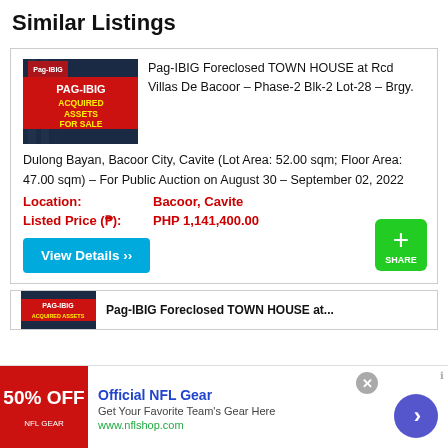Similar Listings
Pag-IBIG Foreclosed TOWN HOUSE at Rcd Villas De Bacoor – Phase-2 Blk-2 Lot-28 – Brgy. Dulong Bayan, Bacoor City, Cavite (Lot Area: 52.00 sqm; Floor Area: 47.00 sqm) – For Public Auction on August 30 – September 02, 2022
Location: Bacoor, Cavite
Listed Price (P): PHP 1,141,400.00
[Figure (screenshot): Pag-IBIG Acquired Assets For Sale banner image with red and yellow text on dark background]
[Figure (screenshot): Green share button with plus icon and SHARE label]
[Figure (screenshot): Second listing card partially visible with Pag-IBIG image]
[Figure (screenshot): Advertisement banner: Official NFL Gear - 50% OFF - Get Your Favorite Team's Gear Here - www.nflshop.com with arrow navigation button]